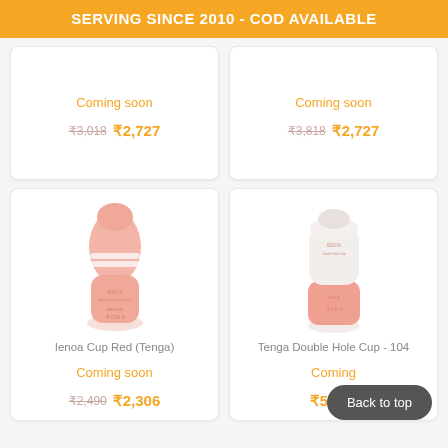SERVING SINCE 2010 - COD AVAILABLE
Coming soon
₹3,018 ₹2,727
Coming soon
₹3,818 ₹2,727
[Figure (photo): Ienoa Cup Red (Tenga) product image - pink cup shaped device]
Ienoa Cup Red (Tenga)
Coming soon
₹2,490 ₹2,306
[Figure (photo): Tenga Double Hole Cup - 104 product image - white and pink cup device]
Tenga Double Hole Cup - 104
Coming
₹5,362
Back to top